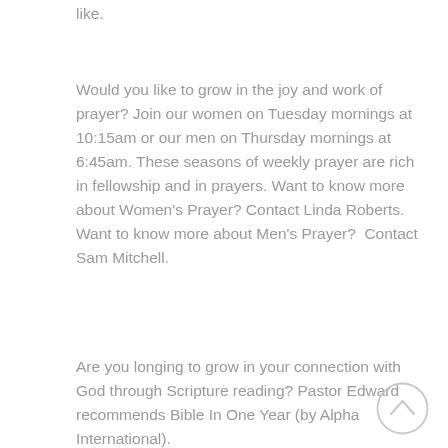like.
Would you like to grow in the joy and work of prayer? Join our women on Tuesday mornings at 10:15am or our men on Thursday mornings at 6:45am. These seasons of weekly prayer are rich in fellowship and in prayers. Want to know more about Women's Prayer? Contact Linda Roberts. Want to know more about Men's Prayer?  Contact Sam Mitchell.
Are you longing to grow in your connection with God through Scripture reading? Pastor Edward recommends Bible In One Year (by Alpha International).